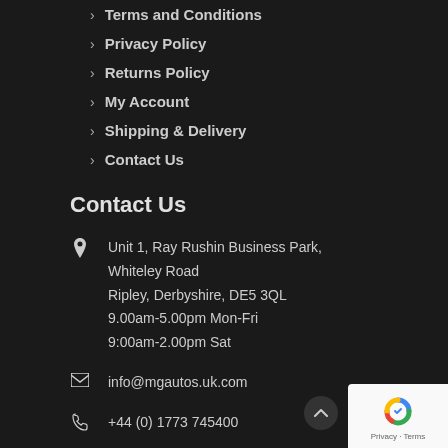Terms and Conditions
Privacy Policy
Returns Policy
My Account
Shipping & Delivery
Contact Us
Contact Us
Unit 1, Ray Rushin Business Park, Whiteley Road
Ripley, Derbyshire, DE5 3QL
9.00am-5.00pm Mon-Fri
9:00am-2.00pm Sat
info@mgautos.uk.com
+44 (0) 1773 745400